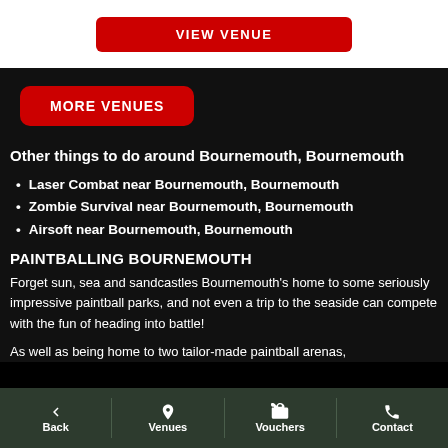[Figure (screenshot): White bar with red VIEW VENUE button]
MORE VENUES
Other things to do around Bournemouth, Bournemouth
Laser Combat near Bournemouth, Bournemouth
Zombie Survival near Bournemouth, Bournemouth
Airsoft near Bournemouth, Bournemouth
PAINTBALLING BOURNEMOUTH
Forget sun, sea and sandcastles Bournemouth's home to some seriously impressive paintball parks, and not even a trip to the seaside can compete with the fun of heading into battle!
As well as being home to two tailor-made paintball arenas,
Back  Venues  Vouchers  Contact